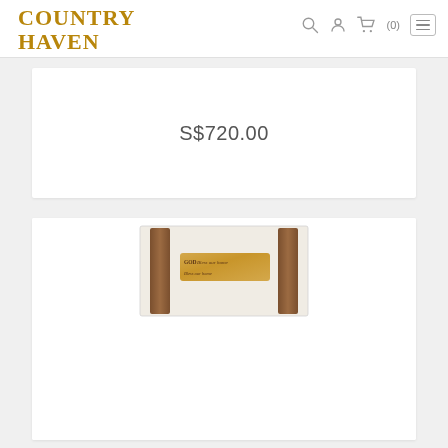COUNTRY HAVEN
S$720.00
[Figure (photo): A wooden wall sign reading 'GOD Bless our home' displayed between two dark wooden chair or furniture posts against a light-colored wall background.]